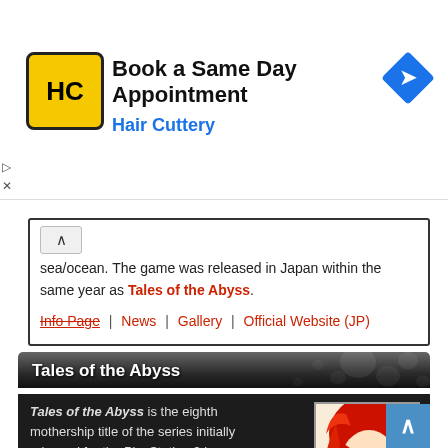[Figure (screenshot): Hair Cuttery advertisement banner with logo, 'Book a Same Day Appointment' text, and navigation arrow icon]
sea/ocean. The game was released in Japan within the same year as Tales of the Abyss.
Info Page | News | Gallery | Official Website (JP)
Tales of the Abyss
Tales of the Abyss is the eighth mothership title of the series initially released for the PlayStation 2 in Japan in the same year as Tales of Legendia. It is the Tales of Series 10th Anniversary title. The game was later ported to the Nintendo 3DS and was adapted into a
[Figure (illustration): Anime-style illustration of a female character with red hair and teal eyes]